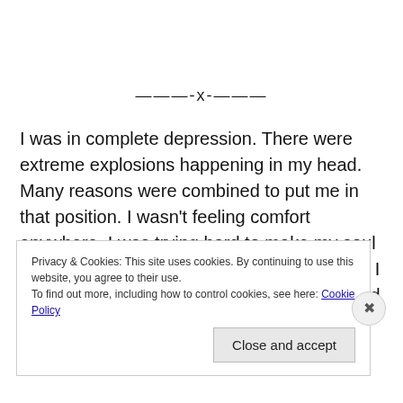———-x-———
I was in complete depression. There were extreme explosions happening in my head. Many reasons were combined to put me in that position. I wasn't feeling comfort anywhere. I was trying hard to make my soul relax for a while but this was not happening. I was crying and crying … Hard ! I couldn't find ease at all. The book was
Privacy & Cookies: This site uses cookies. By continuing to use this website, you agree to their use.
To find out more, including how to control cookies, see here: Cookie Policy
Close and accept